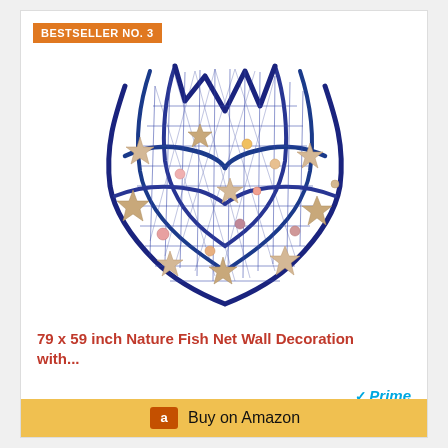BESTSELLER NO. 3
[Figure (photo): Blue decorative fish net wall decoration with starfish and colorful shells attached to it, displayed against white background]
79 x 59 inch Nature Fish Net Wall Decoration with...
Prime
$18.99
Buy on Amazon